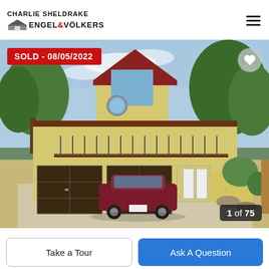CHARLIE SHELDRAKE — ENGEL & VÖLKERS
[Figure (photo): Exterior photo of a two-story residential home with dark wood garage doors, red tile roof, balcony railing, and a dark red sedan parked in circular driveway. Large trees in background. SOLD - 08/05/2022 badge overlaid top-left. Heart icon top-right. Image counter '1 of 75' bottom-right.]
1 of 75
Take a Tour
Ask A Question